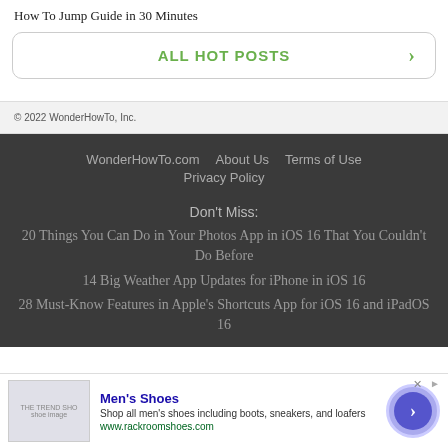How To Jump Guide in 30 Minutes
ALL HOT POSTS
© 2022 WonderHowTo, Inc.
WonderHowTo.com   About Us   Terms of Use   Privacy Policy
Don't Miss:
20 Things You Can Do in Your Photos App in iOS 16 That You Couldn't Do Before
14 Big Weather App Updates for iPhone in iOS 16
28 Must-Know Features in Apple's Shortcuts App for iOS 16 and iPadOS 16
Men's Shoes
Shop all men's shoes including boots, sneakers, and loafers
www.rackroomshoes.com